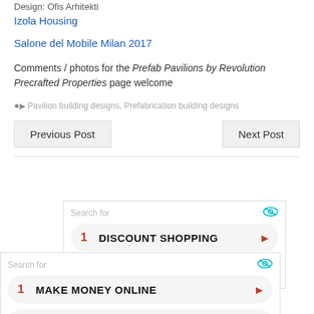Design: Ofis Arhitekti
Izola Housing
Salone del Mobile Milan 2017
Comments / photos for the Prefab Pavilions by Revolution Precrafted Properties page welcome
Pavilion building designs, Prefabrication building designs
Previous Post
Next Post
[Figure (screenshot): Ad widget: Search for with eye icon, row 1: DISCOUNT SHOPPING with arrow, row 2 partially visible: JOB LISTINGS]
[Figure (screenshot): Ad widget: Search for with eye icon, row 1: MAKE MONEY ONLINE with arrow, row 2: SOCIAL NETWORKING with arrow, cyan triangle icon at bottom right]